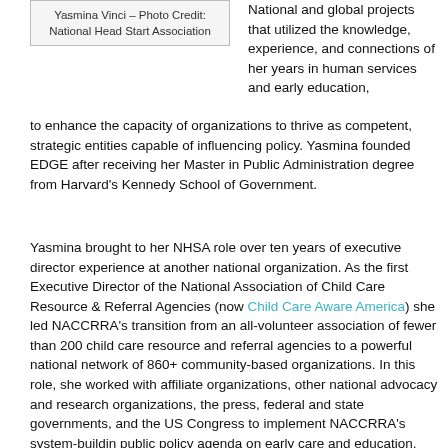[Figure (photo): Photo credit box: Yasmina Vinci – Photo Credit: National Head Start Association]
National and global projects that utilized the knowledge, experience, and connections of her years in human services and early education, to enhance the capacity of organizations to thrive as competent, strategic entities capable of influencing policy. Yasmina founded EDGE after receiving her Master in Public Administration degree from Harvard's Kennedy School of Government.
Yasmina brought to her NHSA role over ten years of executive director experience at another national organization. As the first Executive Director of the National Association of Child Care Resource & Referral Agencies (now Child Care Aware America) she led NACCRRA's transition from an all-volunteer association of fewer than 200 child care resource and referral agencies to a powerful national network of 860+ community-based organizations. In this role, she worked with affiliate organizations, other national advocacy and research organizations, the press, federal and state governments, and the US Congress to implement NACCRRA's system-buildin public policy agenda on early care and education. Under her leadership, NACCRRA organized the national grassroots campaign that was instrumental to securing the funding for child care in the welfare reform legislation.